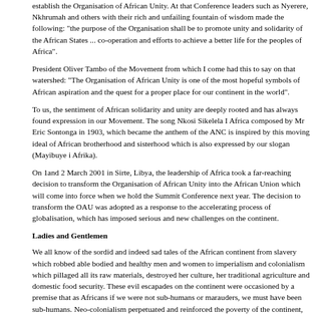establish the Organisation of African Unity. At that Conference leaders such as Nyerere, Nkhrumah and others with their rich and unfailing fountain of wisdom made the following: "the purpose of the Organisation shall be to promote unity and solidarity of the African States ... co-operation and efforts to achieve a better life for the peoples of Africa".
President Oliver Tambo of the Movement from which I come had this to say on that watershed: "The Organisation of African Unity is one of the most hopeful symbols of African aspiration and the quest for a proper place for our continent in the world".
To us, the sentiment of African solidarity and unity are deeply rooted and has always found expression in our Movement. The song Nkosi Sikelela I Africa composed by Mr Eric Sontonga in 1903, which became the anthem of the ANC is inspired by this moving ideal of African brotherhood and sisterhood which is also expressed by our slogan (Mayibuye i Afrika).
On 1and 2 March 2001 in Sirte, Libya, the leadership of Africa took a far-reaching decision to transform the Organisation of African Unity into the African Union which will come into force when we hold the Summit Conference next year. The decision to transform the OAU was adopted as a response to the accelerating process of globalisation, which has imposed serious and new challenges on the continent.
Ladies and Gentlemen
We all know of the sordid and indeed sad tales of the African continent from slavery which robbed able bodied and healthy men and women to imperialism and colonialism which pillaged all its raw materials, destroyed her culture, her traditional agriculture and domestic food security. These evil escapades on the continent were occasioned by a premise that as Africans if we were not sub-humans or marauders, we must have been sub-humans. Neo-colonialism perpetuated and reinforced the poverty of the continent, while creating a self-serving and rapacious elite, whose only interest was the wishes of the dominant global forces.
The unstable political systems such as one party state and military dictatorship that followed, served to plunge the continent into the dark process of intractable conflicts, genocide and civil wars causing displacement of millions and the refugee populations, especially women and children. The unfavourable terms of trade, debt overhang, declining Official Development Assistance, HIV/Aids and poor governance have led to the marginalization of the continent from the global economy.
Distinguished Guests
Notwithstanding, these pervasive and demoralising conditions which sometime seem to